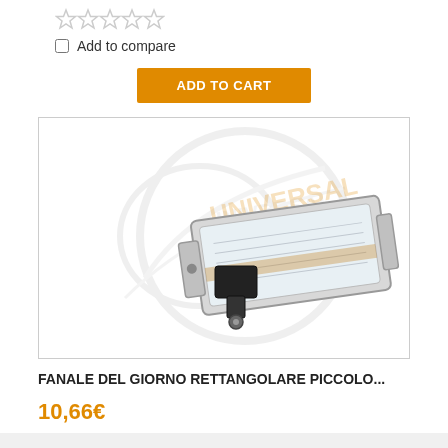[Figure (other): Five empty star rating icons in a row]
Add to compare
ADD TO CART
[Figure (photo): Rectangular small daytime running lamp (fanale del giorno rettangolare piccolo) mounted on a black bracket, with Universal Truck watermark logo in background]
FANALE DEL GIORNO RETTANGOLARE PICCOLO...
10,66€